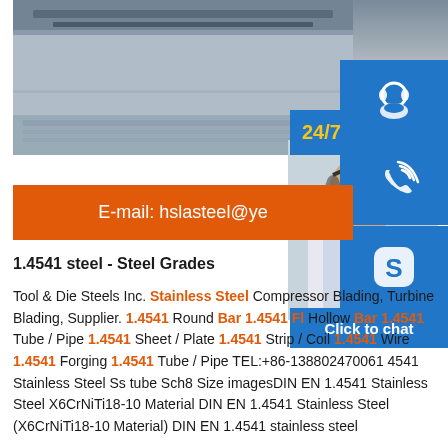[Figure (photo): Photo of stainless steel sheets/industrial material at top of page]
[Figure (infographic): 24/7 hour customer service icon (blue background with headset icon)]
[Figure (infographic): Phone/call icon (blue background)]
[Figure (infographic): Skype icon (blue background with 'S' logo)]
[Figure (photo): Customer service representative smiling with headset]
[Figure (infographic): Click to chat banner (blue background)]
E-mail: hslasteel@ye
1.4541 steel - Steel Grades
Tool & Die Steels Inc. Stainless Steel Compressor Blading, Turbine Blading, Supplier. 1.4541 Round Bar 1.4541 Fl Hollow Bar 1.4541 Tube / Pipe 1.4541 Sheet / Plate 1.4541 Strip / Coil 1.4541 Wire 1.4541 Forging 1.4541 Tube / Pipe TEL:+86-138802470061 4541 Stainless Steel Ss tube Sch8 Size imagesDIN EN 1.4541 Stainless Steel X6CrNiTi18-10 Material DIN EN 1.4541 Stainless Steel (X6CrNiTi18-10 Material) DIN EN 1.4541 stainless steel